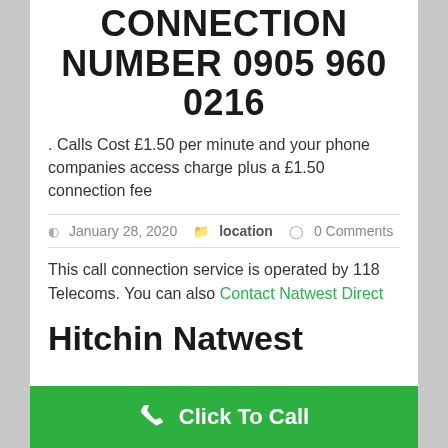CONNECTION NUMBER 0905 960 0216
. Calls Cost £1.50 per minute and your phone companies access charge plus a £1.50 connection fee
January 28, 2020  location  0 Comments
This call connection service is operated by 118 Telecoms. You can also Contact Natwest Direct
Hitchin Natwest
Click To Call